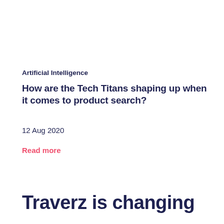Artificial Intelligence
How are the Tech Titans shaping up when it comes to product search?
12 Aug 2020
Read more
Traverz is changing